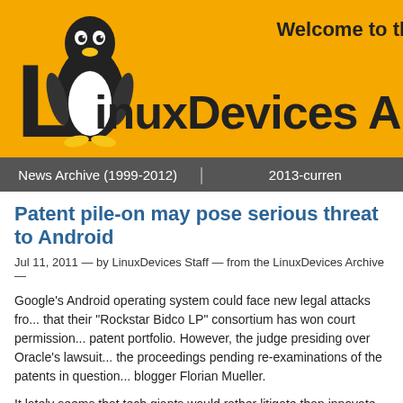[Figure (logo): LinuxDevices Archive website header with orange background, Tux penguin mascot, large 'L' letter, 'Welcome to the...' text, and 'LinuxDevices Arc' brand name (truncated)]
News Archive (1999-2012) | 2013-current
Patent pile-on may pose serious threat to Android
Jul 11, 2011 — by LinuxDevices Staff — from the LinuxDevices Archive —
Google's Android operating system could face new legal attacks fro... that their "Rockstar Bidco LP" consortium has won court permission... patent portfolio. However, the judge presiding over Oracle's lawsuit... the proceedings pending re-examinations of the patents in question... blogger Florian Mueller.
It lately seems that tech giants would rather litigate than innovate. A... unleashing their legal hounds on Google, whose Android operating... smartphone market share.
As we've been reporting over the past couple of weeks, Microsoft...